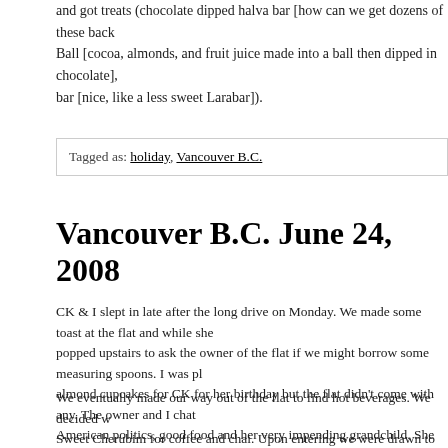and got treats (chocolate dipped halva bar [how can we get dozens of these back], Ball [cocoa, almonds, and fruit juice made into a ball then dipped in chocolate], bar [nice, like a less sweet Larabar]).
Tagged as: holiday, Vancouver B.C.
Vancouver B.C. June 24, 2008
CK & I slept in late after the long drive on Monday. We made some toast at the flat and while she popped upstairs to ask the owner of the flat if we might borrow some measuring spoons. I was pl almond cupcakes for CK for her birthday but the flat didn't come with any. The owner and I chat American politics, good food and her very impending grandchild. She recommended a place just being very tasty if short on atmosphere, Sweet Cherubim
We eventually made our way out of the flat to find hot beverages. We decided w Sweet Cherubim for coffee and chai. Upon entering we were drawn to the enorm with an array of cookies, raw pies, truffle like things (called such names as "bliss chocolate dipped things (mostly all vegan) then around the corner to the hot foo mostly Indian dishes. Everything is vegetarian. They use some dairy in a couple but otherwise no dairy or eggs in anything. Some dishes use honey so are not str coffee was strong, not bitter, and the soy milk had a great foam on it. We had to CK had ordered, but it turned out to be entirely worth it since it was fresh made a all.
Then down The Drive to the Sky Train station on Broadway. We caught the train Science World on main and spent the afternoon playing with puzzles, reaction ga